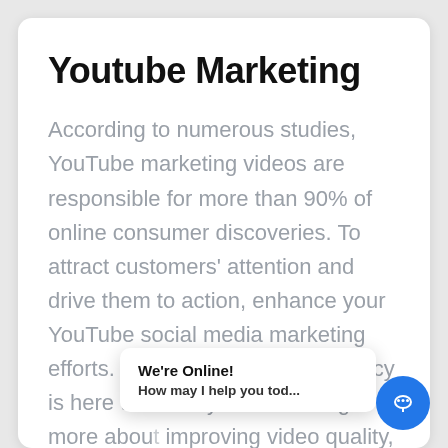Youtube Marketing
According to numerous studies, YouTube marketing videos are responsible for more than 90% of online consumer discoveries. To attract customers' attention and drive them to action, enhance your YouTube social media marketing efforts. Our SMM marketing agency is here to assist you in learning more about improving video quality, and